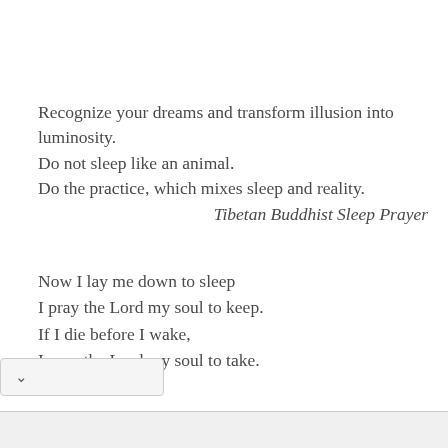Recognize your dreams and transform illusion into luminosity.
Do not sleep like an animal.
Do the practice, which mixes sleep and reality.
    Tibetan Buddhist Sleep Prayer
Now I lay me down to sleep
I pray the Lord my soul to keep.
If I die before I wake,
I pray the Lord my soul to take.